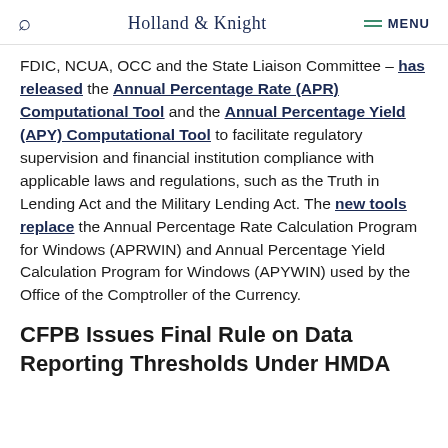Holland & Knight
FDIC, NCUA, OCC and the State Liaison Committee – has released the Annual Percentage Rate (APR) Computational Tool and the Annual Percentage Yield (APY) Computational Tool to facilitate regulatory supervision and financial institution compliance with applicable laws and regulations, such as the Truth in Lending Act and the Military Lending Act. The new tools replace the Annual Percentage Rate Calculation Program for Windows (APRWIN) and Annual Percentage Yield Calculation Program for Windows (APYWIN) used by the Office of the Comptroller of the Currency.
CFPB Issues Final Rule on Data Reporting Thresholds Under HMDA